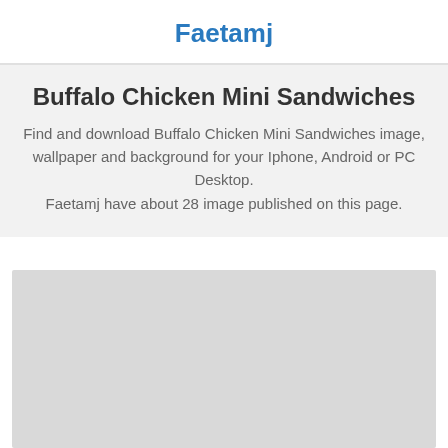Faetamj
Buffalo Chicken Mini Sandwiches
Find and download Buffalo Chicken Mini Sandwiches image, wallpaper and background for your Iphone, Android or PC Desktop. Faetamj have about 28 image published on this page.
[Figure (other): Gray placeholder rectangle representing an image area]